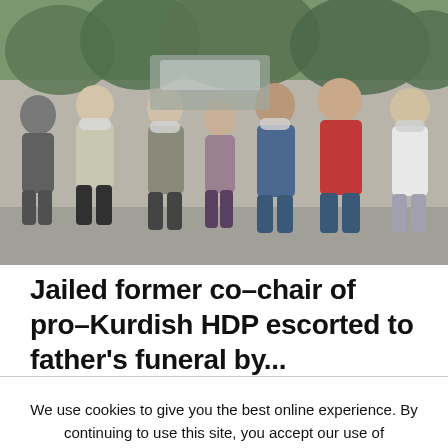[Figure (photo): Crowd of people walking, some wearing face masks, in an outdoor setting. A person in a red-striped vest visible on right side. Trees in background.]
Jailed former co-chair of pro-Kurdish HDP escorted to father's funeral by...
We use cookies to give you the best online experience. By continuing to use this site, you accept our use of cookies. Learn more
Accept